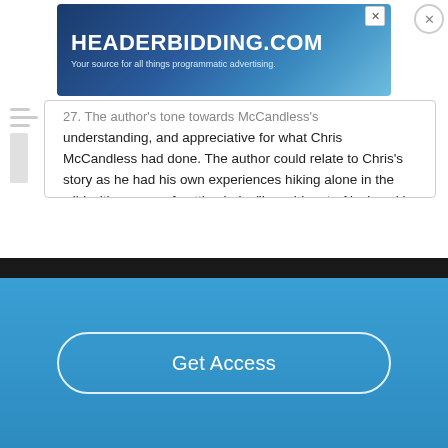[Figure (other): HeaderBidding.com advertisement banner with blue gradient background and close button]
understanding, and appreciative for what Chris McCandless had done. The author could relate to Chris’s story as he had his own experiences hiking alone in the wild with no way of getting help. “I would go to Alaska, ski inland from the sea across thirty miles of glacial ice, and ascend this mighty nordwand. I decided, moreover, to do it alone.”…
Read More
Get Access